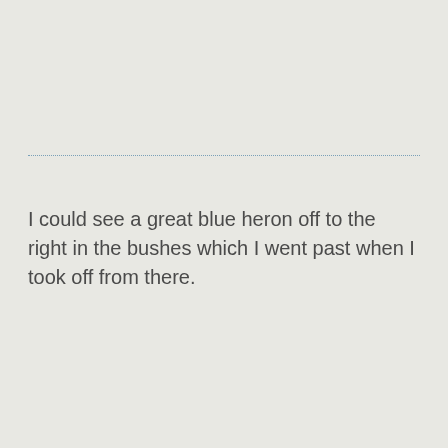I could see a great blue heron off to the right in the bushes which I went past when I took off from there.